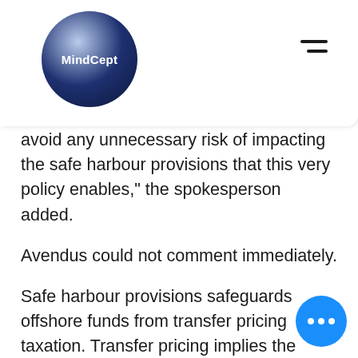MindCept [logo with navigation bar]
avoid any unnecessary risk of impacting the safe harbour provisions that this very policy enables," the spokesperson added.
Avendus could not comment immediately.
Safe harbour provisions safeguards offshore funds from transfer pricing taxation. Transfer pricing implies the prices at which various overseas divisions of a company transact with each other. Transfer pricing provisions are aimed at ensuring that transactions entered